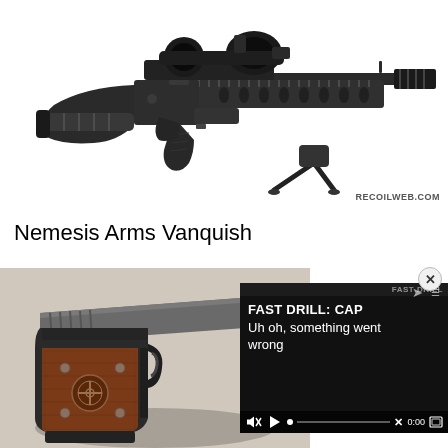[Figure (photo): Black tactical rifle with bipod, scope, and rail system, shown on white background. Watermark reads RECOILWEB.COM.]
Nemesis Arms Vanquish
[Figure (photo): Partially visible pistol with wooden grip panels and custom markings, with a video player overlay showing 'FAST DRILL: CAP' and error message 'Uh oh, something went wrong' with playback controls at 0:00.]